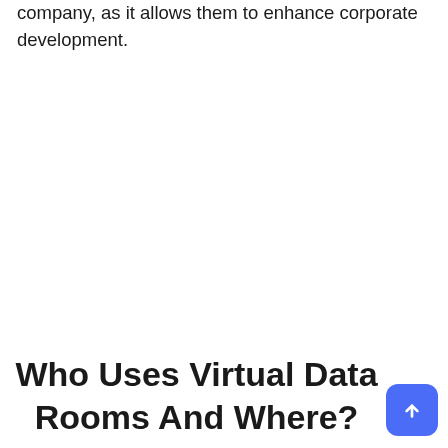company, as it allows them to enhance corporate development.
Who Uses Virtual Data Rooms And Where?